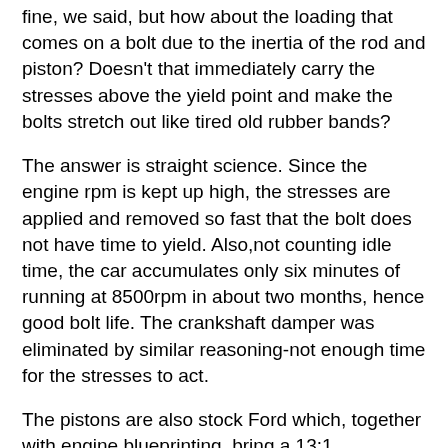fine, we said, but how about the loading that comes on a bolt due to the inertia of the rod and piston? Doesn't that immediately carry the stresses above the yield point and make the bolts stretch out like tired old rubber bands?
The answer is straight science. Since the engine rpm is kept up high, the stresses are applied and removed so fast that the bolt does not have time to yield. Also,not counting idle time, the car accumulates only six minutes of running at 8500rpm in about two months, hence good bolt life. The crankshaft damper was eliminated by similar reasoning-not enough time for the stresses to act.
The pistons are also stock Ford which, together with engine blueprinting, bring a 13:1 compression. Slightly deeper valvepockets provide enough clearance so that the cam can be retarded or advanced at will. The pistons have Perfect Circle Molybdenum filled top and second compression rings. These rings are barrel faced for a quicker break-in. The moly, too,